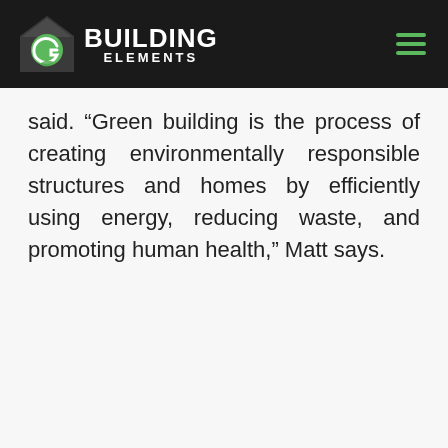BUILDING ELEMENTS
said. “Green building is the process of creating environmentally responsible structures and homes by efficiently using energy, reducing waste, and promoting human health,” Matt says.